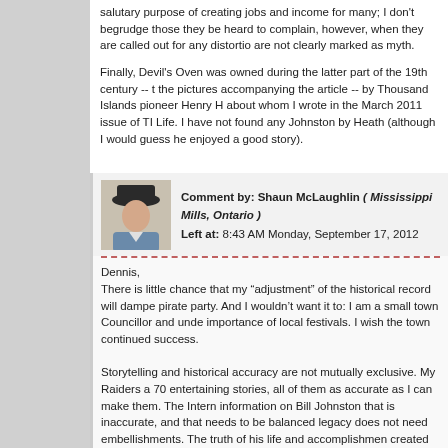salutary purpose of creating jobs and income for many; I don't begrudge those they be heard to complain, however, when they are called out for any distortio are not clearly marked as myth.
Finally, Devil's Oven was owned during the latter part of the 19th century -- the pictures accompanying the article -- by Thousand Islands pioneer Henry H about whom I wrote in the March 2011 issue of TI Life. I have not found any Johnston by Heath (although I would guess he enjoyed a good story).
Comment by: Shaun McLaughlin ( Mississippi Mills, Ontario )
Left at: 8:43 AM Monday, September 17, 2012
Dennis,
There is little chance that my “adjustment” of the historical record will dampe pirate party. And I wouldn’t want it to: I am a small town Councillor and unde importance of local festivals. I wish the town continued success.

Storytelling and historical accuracy are not mutually exclusive. My Raiders a 70 entertaining stories, all of them as accurate as I can make them. The Intern information on Bill Johnston that is inaccurate, and that needs to be balanced legacy does not need embellishments. The truth of his life and accomplishmen created about him.
Comment by: christine DeVoy ( utica ny/ )
Left at: 8:09 AM Tuesday, January 8, 2013